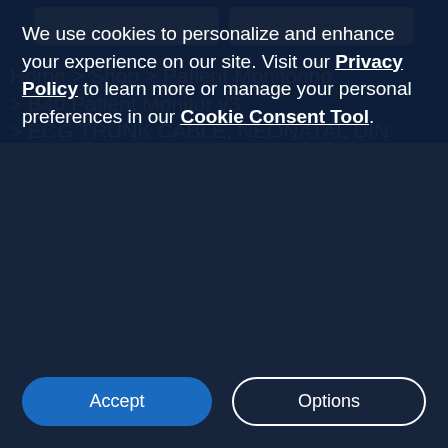Home > Shop > Patient Monitoring > B40 Patient Monitor v3 > ECG TRUNK CABLE, NEONATAL DIN
We use cookies to personalize and enhance your experience on our site. Visit our Privacy Policy to learn more or manage your personal preferences in our Cookie Consent Tool.
Accept
Options